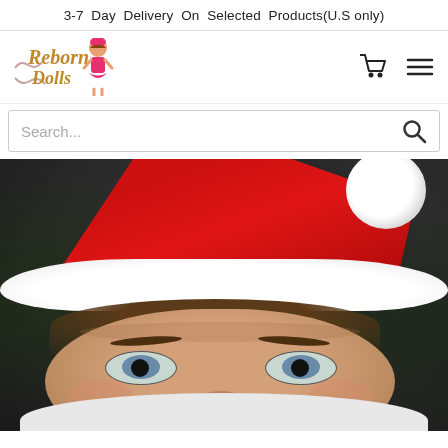3-7 Day Delivery On Selected Products(U.S only)
[Figure (logo): Reborn Dolls logo with cartoon doll figure]
Search...
[Figure (photo): Close-up photo of a baby or reborn doll wearing a red and white Santa Claus hat, with blue-grey eyes and brown hair, against a dark background]